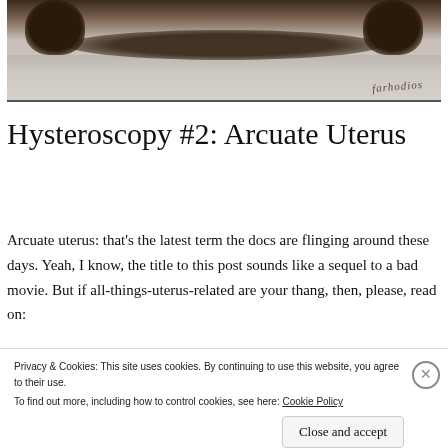[Figure (photo): Photo of dark-colored paws/animal against a light textured fabric background, with handwritten text 'farhodios' in the lower right corner]
Hysteroscopy #2: Arcuate Uterus
Arcuate uterus: that's the latest term the docs are flinging around these days. Yeah, I know, the title to this post sounds like a sequel to a bad movie. But if all-things-uterus-related are your thang, then, please, read on:
Privacy & Cookies: This site uses cookies. By continuing to use this website, you agree to their use.
To find out more, including how to control cookies, see here: Cookie Policy